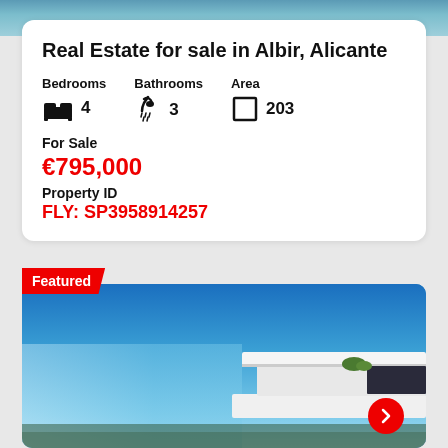[Figure (photo): Top image strip showing water/pool background]
Real Estate for sale in Albir, Alicante
Bedrooms: 4, Bathrooms: 3, Area: 203
For Sale
€795,000
Property ID
FLY: SP3958914257
[Figure (photo): Featured modern villa exterior with blue sky, white architecture, green plants, navigation arrow button. Badge reads 'Featured'.]